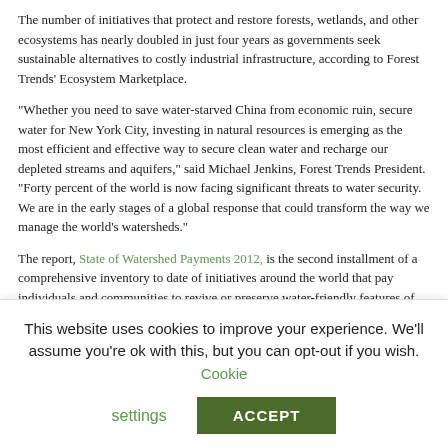The number of initiatives that protect and restore forests, wetlands, and other ecosystems has nearly doubled in just four years as governments seek sustainable alternatives to costly industrial infrastructure, according to Forest Trends' Ecosystem Marketplace.
"Whether you need to save water-starved China from economic ruin, secure water for New York City, investing in natural resources is emerging as the most efficient and effective way to secure clean water and recharge our depleted streams and aquifers," said Michael Jenkins, Forest Trends President. "Forty percent of the world is now facing significant threats to water security. We are in the early stages of a global response that could transform the way we manage the world's watersheds."
The report, State of Watershed Payments 2012, is the second installment of a comprehensive inventory to date of initiatives around the world that pay individuals and communities to revive or preserve water-friendly features of landscape.
– Get further coverage at Ecosystem Marketplace.
– Download the report.
2012: The Year In Biodiversity
This website uses cookies to improve your experience. We'll assume you're ok with this, but you can opt-out if you wish. Cookie settings ACCEPT